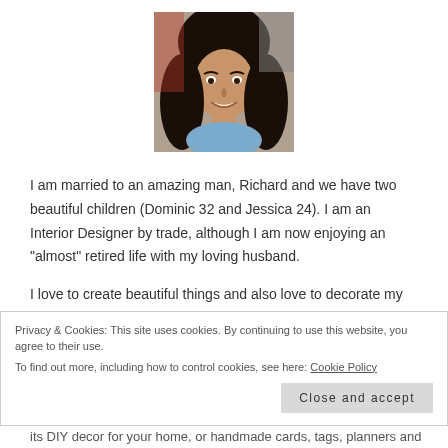[Figure (photo): Profile photo of a woman with long dark hair, smiling, selfie style]
I am married to an amazing man, Richard and we have two beautiful children (Dominic 32 and Jessica 24). I am an Interior Designer by trade, although I am now enjoying an "almost" retired life with my loving husband.
I love to create beautiful things and also love to decorate my home.
Privacy & Cookies: This site uses cookies. By continuing to use this website, you agree to their use.
To find out more, including how to control cookies, see here: Cookie Policy
Close and accept
its DIY decor for your home, or handmade cards, tags, planners and